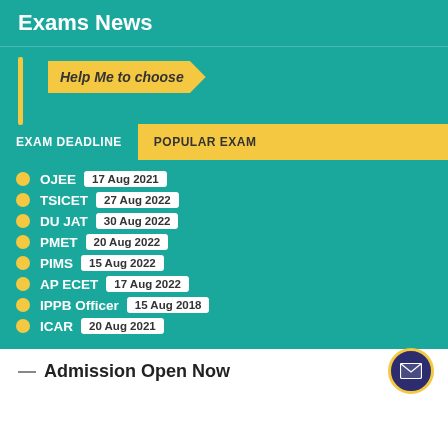Exams News
[Figure (infographic): Yellow flag/ribbon banner with italic text 'Help Me to choose' on teal background with vertical yellow bar on left]
EXAM DEADLINE   POPULAR EXAM
OJEE  17 Aug 2021
TSICET  27 Aug 2022
DU JAT  30 Aug 2022
PMET  20 Aug 2022
PIMS  15 Aug 2022
AP ECET  17 Aug 2022
IPPB Officer  15 Aug 2018
ICAR  20 Aug 2021
Admission Open Now